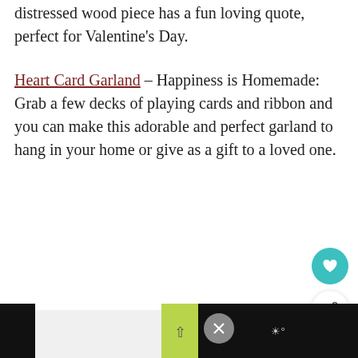distressed wood piece has a fun loving quote, perfect for Valentine's Day.
Heart Card Garland – Happiness is Homemade: Grab a few decks of playing cards and ribbon and you can make this adorable and perfect garland to hang in your home or give as a gift to a loved one.
[Figure (screenshot): UI overlay with teal heart button, white share button, 'What's Next' card showing red rose image and 'Easy 2-in-1 Valentine's...' text, green scroll-up bar, black ad bars, and close button]